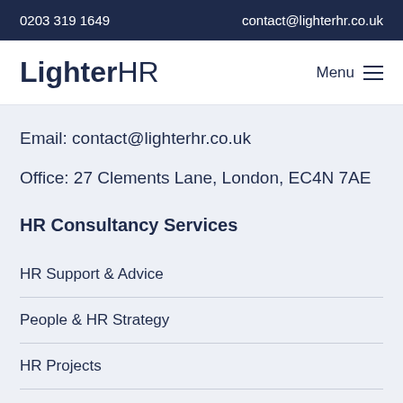0203 319 1649    contact@lighterhr.co.uk
LighterHR
Email: contact@lighterhr.co.uk
Office: 27 Clements Lane, London, EC4N 7AE
HR Consultancy Services
HR Support & Advice
People & HR Strategy
HR Projects